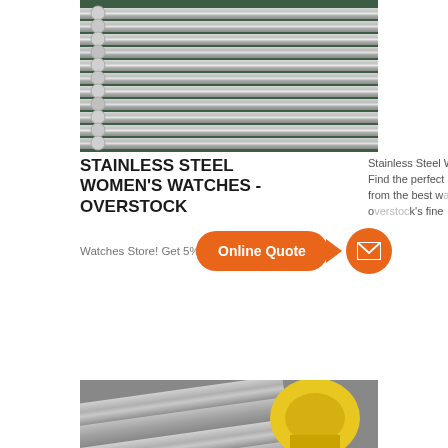[Figure (photo): Stainless steel round rods/bars stacked in a factory or warehouse, metallic silver cylinders with green structure in background]
STAINLESS STEEL WOMEN'S WATCHES - OVERSTOCK
Stainless Steel Women's Watches : Find the perfect style for any occasion from the best watch brands with overstock's fine
Watches Store! Get 5% in rew...
[Figure (infographic): Online Quote call-to-action button in orange with arrow pointing right, and an orange circle with envelope/mail icon]
READ MORE
[Figure (photo): Stainless steel flat bars/sheets with yellow machinery visible, industrial setting]